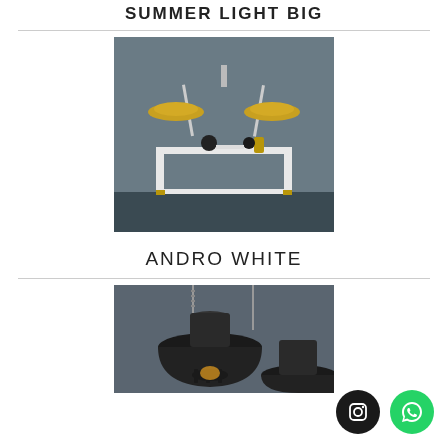SUMMER LIGHT BIG
[Figure (photo): Photo of a wall-mounted double arm lamp with gold/brass disc shades above a white console table with decorative objects in a dark grey room.]
ANDRO WHITE
[Figure (photo): Photo of a large black industrial-style pendant lamp with a dome shade and cage light bulb, hanging against a grey background.]